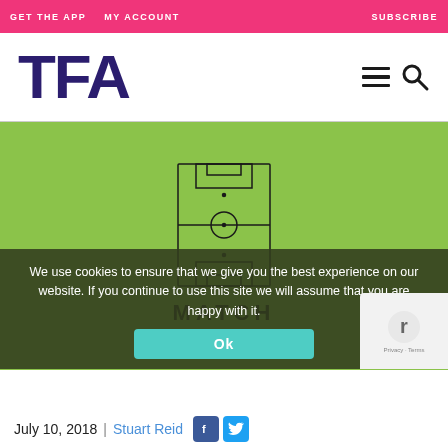GET THE APP   MY ACCOUNT   SUBSCRIBE
[Figure (logo): TFA logo in dark purple bold letters, with hamburger menu icon and search icon to the right]
[Figure (illustration): Green background with a soccer/football field diagram icon in the center, labeled MATCH analysis below the icon]
We use cookies to ensure that we give you the best experience on our website. If you continue to use this site we will assume that you are happy with it.
Ok
July 10, 2018  |  Stuart Reid